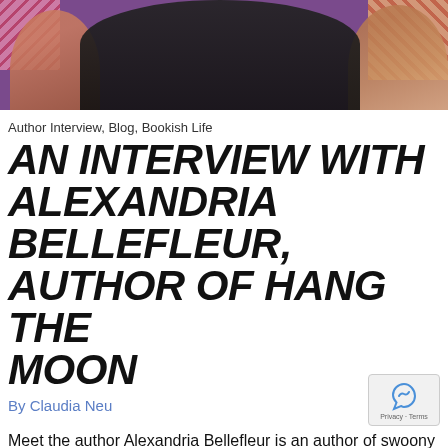[Figure (photo): Photo banner showing two people, one in a black top in center and another with floral clothing on the right, against a purple background.]
Author Interview, Blog, Bookish Life
AN INTERVIEW WITH ALEXANDRIA BELLEFLEUR, AUTHOR OF HANG THE MOON
By Claudia Neu
Meet the author Alexandria Bellefleur is an author of swoony contemporary romance often featuring loveable grumps and the sunshine characters who bring them to their knees. Her special skills include finding the best Pad Thai in every city she visits, remembering faces but not names, falling asleep in movie theaters,